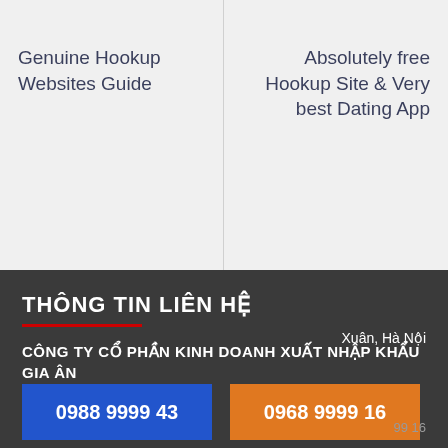Genuine Hookup Websites Guide
Absolutely free Hookup Site & Very best Dating App
THÔNG TIN LIÊN HỆ
CÔNG TY CỔ PHẦN KINH DOANH XUẤT NHẬP KHẨU GIA ÂN
Xuân, Hà Nội
0988 9999 43
0968 9999 16
99 16